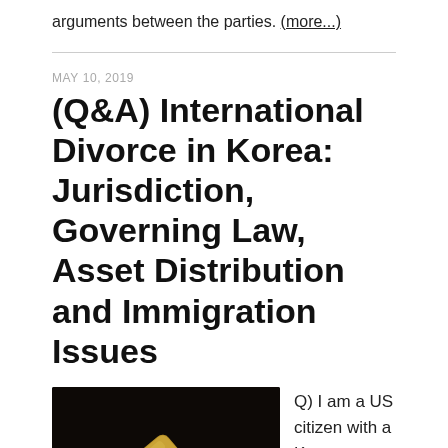arguments between the parties. (more...)
(Q&A) International Divorce in Korea: Jurisdiction, Governing Law, Asset Distribution and Immigration Issues
MAY 10, 2019
[Figure (photo): Close-up photo of a wooden gavel resting on a sound block against a dark background.]
Q) I am a US citizen with a Korean spouse.